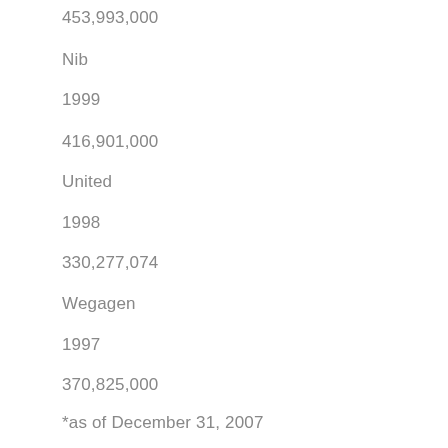453,993,000
Nib
1999
416,901,000
United
1998
330,277,074
Wegagen
1997
370,825,000
*as of December 31, 2007
Source: NBE & annual reports of the banks